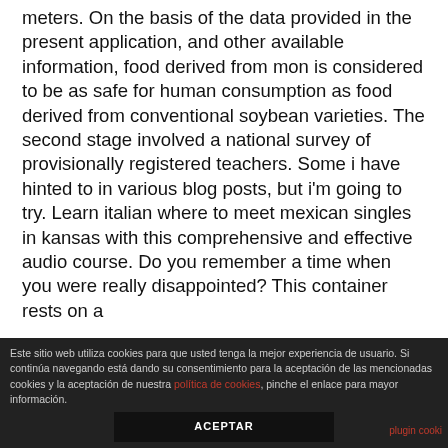meters. On the basis of the data provided in the present application, and other available information, food derived from mon is considered to be as safe for human consumption as food derived from conventional soybean varieties. The second stage involved a national survey of provisionally registered teachers. Some i have hinted to in various blog posts, but i'm going to try. Learn italian where to meet mexican singles in kansas with this comprehensive and effective audio course. Do you remember a time when you were really disappointed? This container rests on a
Este sitio web utiliza cookies para que usted tenga la mejor experiencia de usuario. Si continúa navegando está dando su consentimiento para la aceptación de las mencionadas cookies y la aceptación de nuestra política de cookies, pinche el enlace para mayor información. ACEPTAR plugin cooki